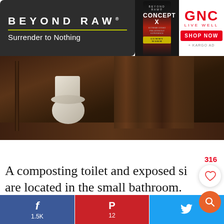[Figure (screenshot): Advertisement banner for Beyond Raw Concept X supplement with GNC Live Well branding and Shop Now button]
[Figure (photo): Interior photo of a small cabin bathroom showing a white composting toilet and exposed wooden structures with dark wood paneling]
316
A composting toilet and exposed si are located in the small bathroom.
f 1.5K  P 12  (Twitter icon)